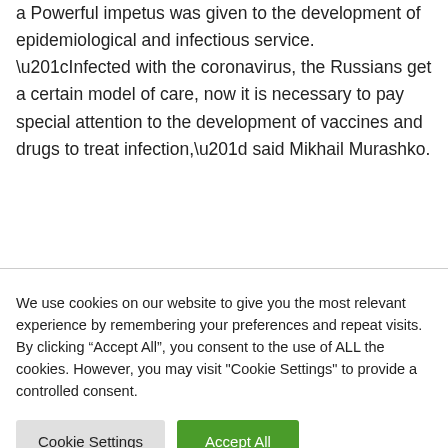a Powerful impetus was given to the development of epidemiological and infectious service. “Infected with the coronavirus, the Russians get a certain model of care, now it is necessary to pay special attention to the development of vaccines and drugs to treat infection,” said Mikhail Murashko.
We use cookies on our website to give you the most relevant experience by remembering your preferences and repeat visits. By clicking “Accept All”, you consent to the use of ALL the cookies. However, you may visit "Cookie Settings" to provide a controlled consent.